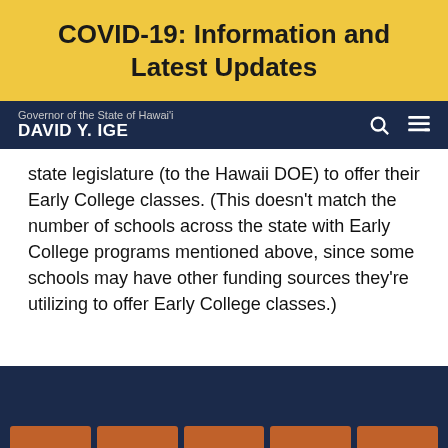COVID-19: Information and Latest Updates
Governor of the State of Hawai'i DAVID Y. IGE
state legislature (to the Hawaii DOE) to offer their Early College classes. (This doesn't match the number of schools across the state with Early College programs mentioned above, since some schools may have other funding sources they're utilizing to offer Early College classes.)